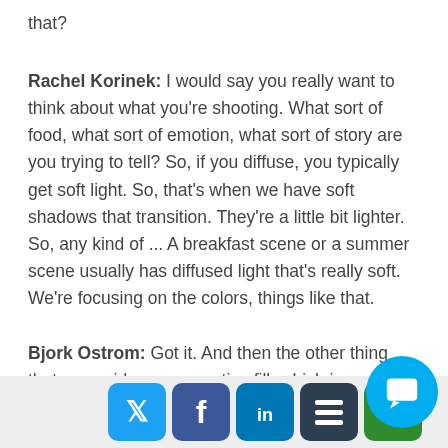that?
Rachel Korinek: I would say you really want to think about what you're shooting. What sort of food, what sort of emotion, what sort of story are you trying to tell? So, if you diffuse, you typically get soft light. So, that's when we have soft shadows that transition. They're a little bit lighter. So, any kind of ... A breakfast scene or a summer scene usually has diffused light that's really soft. We're focusing on the colors, things like that.
Bjork Ostrom: Got it. And then the other thing that you said was a negative fill, which is something I've never heard about. Usually